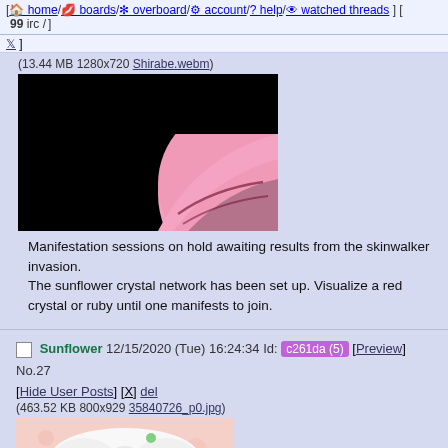[ home / boards / overboard / account / ? help / watched threads ] [ 99 irc / ]
(13.44 MB 1280x720 Shirabe.webm)
[Figure (illustration): Anime/media screenshot: mostly black with a pink rounded shape visible in lower right, on dark background]
Manifestation sessions on hold awaiting results from the skinwalker invasion.
The sunflower crystal network has been set up. Visualize a red crystal or ruby until one manifests to join.
Sunflower 12/15/2020 (Tue) 16:24:34 Id: c261da (5) [Preview] No.27 [Hide User Posts] [X] del
(463.52 KB 800x929 35840726_p0.jpg)
[Figure (illustration): Anime character illustration: girl with red/brown hair, white large bow hat, cat ears, crystal accessories, detailed colorful artwork]